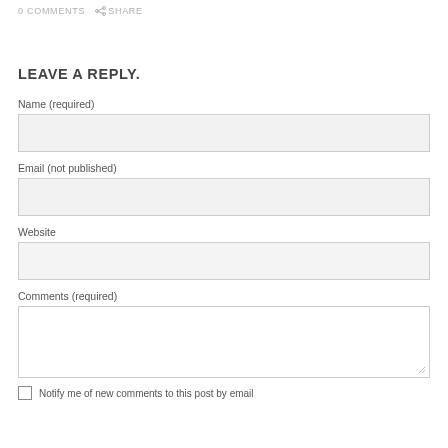0 COMMENTS   SHARE
LEAVE A REPLY.
Name (required)
Email (not published)
Website
Comments (required)
Notify me of new comments to this post by email